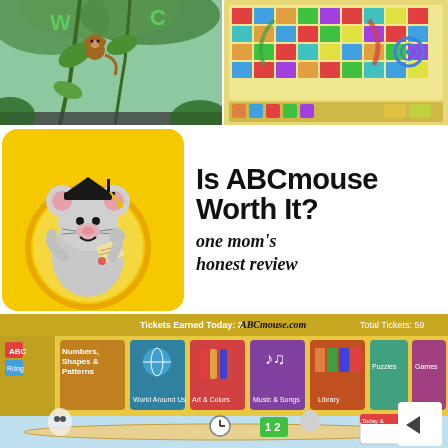[Figure (screenshot): Screenshot of ABCmouse jungle/cartoon educational game with monkey swinging and letters W and C visible]
[Figure (screenshot): Screenshot of ABCmouse board game interface with colorful snake-and-ladder style game board]
[Figure (illustration): ABCmouse.com logo featuring a cartoon mouse wearing a graduation cap and holding a diploma, on yellow background]
Is ABCmouse Worth It?
one mom's honest review
[Figure (screenshot): Screenshot of ABCmouse.com website interface showing learning categories: Numbers Shapes & Patterns, World Around Us, Art & Colors, Music & Songs, Library, Puzzles, Games, with animated classroom scene at bottom]